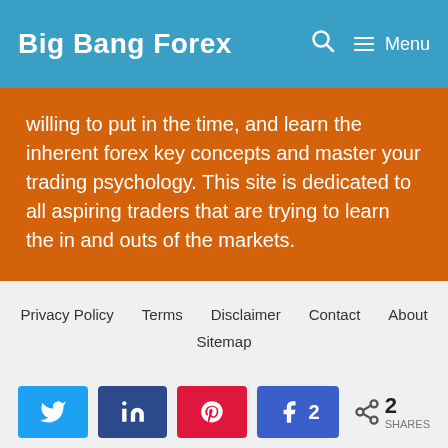Big Bang Forex
willing to put in the time, and learn the inherent forex key concepts and master your trading psychology. This site is dedicated to all aspiring traders that are trying to learn the in and outs of the markets.
Privacy Policy   Terms   Disclaimer   Contact   About   Sitemap
[Figure (screenshot): Social share buttons: Twitter, LinkedIn, Pinterest, Facebook with count 2, and total shares 2]